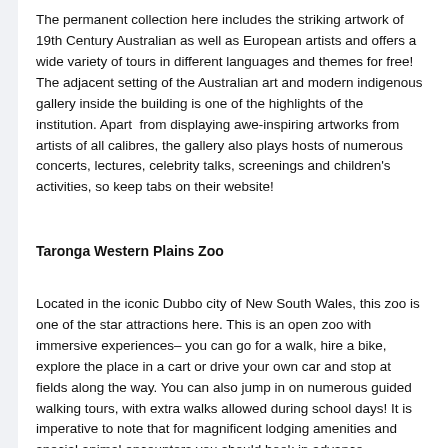The permanent collection here includes the striking artwork of 19th Century Australian as well as European artists and offers a wide variety of tours in different languages and themes for free! The adjacent setting of the Australian art and modern indigenous gallery inside the building is one of the highlights of the institution. Apart from displaying awe-inspiring artworks from artists of all calibres, the gallery also plays hosts of numerous concerts, lectures, celebrity talks, screenings and children's activities, so keep tabs on their website!
Taronga Western Plains Zoo
Located in the iconic Dubbo city of New South Wales, this zoo is one of the star attractions here. This is an open zoo with immersive experiences– you can go for a walk, hire a bike, explore the place in a cart or drive your own car and stop at fields along the way. You can also jump in on numerous guided walking tours, with extra walks allowed during school days! It is imperative to note that for magnificent lodging amenities and special animal encounters you should book in advance.